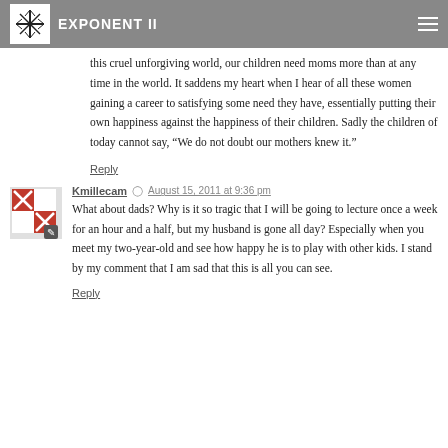Exponent II
this cruel unforgiving world, our children need moms more than at any time in the world. It saddens my heart when I hear of all these women gaining a career to satisfying some need they have, essentially putting their own happiness against the happiness of their children. Sadly the children of today cannot say, “We do not doubt our mothers knew it.”
Reply
Kmillecam ⊙ August 15, 2011 at 9:36 pm
What about dads? Why is it so tragic that I will be going to lecture once a week for an hour and a half, but my husband is gone all day? Especially when you meet my two-year-old and see how happy he is to play with other kids. I stand by my comment that I am sad that this is all you can see.
Reply